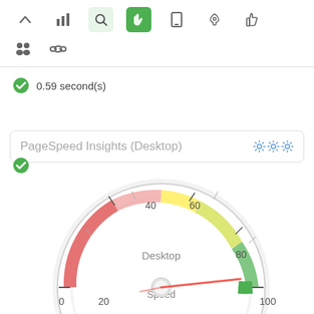[Figure (screenshot): Top navigation toolbar with icons: up arrow, bar chart, search (light green background), hand/touch (green background), mobile phone, rocket, thumbs up]
[Figure (screenshot): Second toolbar row with people icon and chain link icon]
0.59 second(s)
PageSpeed Insights (Desktop)
[Figure (other): Speedometer gauge showing Desktop Speed score near 100, with colored arc: red 0-40, yellow 40-60, yellow-green 60-80, green 80-100. Needle pointing toward high score near 100. Labels: 0, 20, 40, 60, 80, 100, Desktop, Speed]